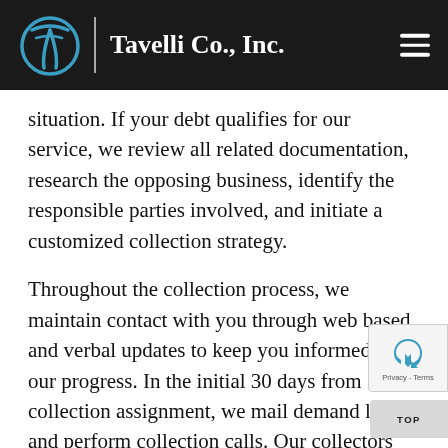Tavelli Co., Inc.
situation. If your debt qualifies for our service, we review all related documentation, research the opposing business, identify the responsible parties involved, and initiate a customized collection strategy.
Throughout the collection process, we maintain contact with you through web based and verbal updates to keep you informed on our progress. In the initial 30 days from collection assignment, we mail demand letters and perform collection calls. Our collectors demonstrate the utmost professionalism and are trained to protect the integrity of your business every step of the way. payments are received during the first 30 days, and